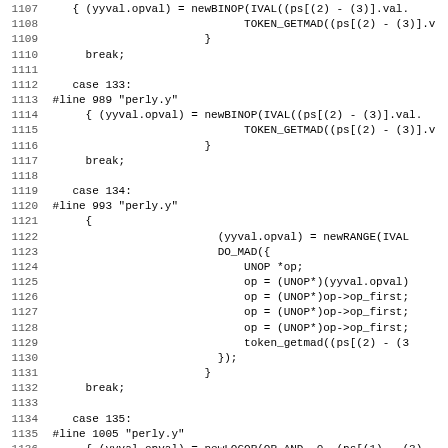Source code listing lines 1107-1138, C/parser code from perly.y
1107  { (yyval.opval) = newBINOP(IVAL((ps[(2) - (3)].val.
1108                                TOKEN_GETMAD((ps[(2) - (3)].v
1109                          }
1110      break;
1111
1112    case 133:
1113 #line 989 "perly.y"
1114      { (yyval.opval) = newBINOP(IVAL((ps[(2) - (3)].val.
1115                                TOKEN_GETMAD((ps[(2) - (3)].v
1116                          }
1117      break;
1118
1119    case 134:
1120 #line 993 "perly.y"
1121      {
1122                            (yyval.opval) = newRANGE(IVAL
1123                            DO_MAD({
1124                                UNOP *op;
1125                                op = (UNOP*)(yyval.opval)
1126                                op = (UNOP*)op->op_first;
1127                                op = (UNOP*)op->op_first;
1128                                op = (UNOP*)op->op_first;
1129                                token_getmad((ps[(2) - (3
1130                            });
1131                          }
1132      break;
1133
1134    case 135:
1135 #line 1005 "perly.y"
1136      { (yyval.opval) = newLOGOP(OP_AND, 0, (ps[(1) - (3)
1137                                TOKEN_GETMAD((ps[(2) - (3)].v
1138                          }